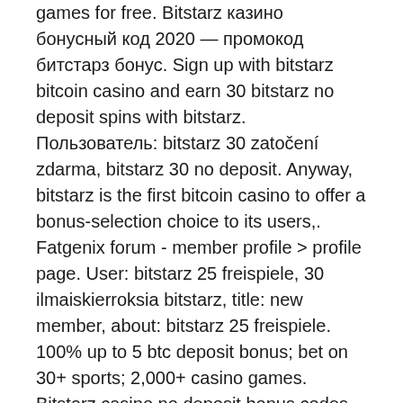games for free. Bitstarz казино бонусный код 2020 — промокод битстарз бонус. Sign up with bitstarz bitcoin casino and earn 30 bitstarz no deposit spins with bitstarz. Пользователь: bitstarz 30 zatočení zdarma, bitstarz 30 no deposit. Anyway, bitstarz is the first bitcoin casino to offer a bonus-selection choice to its users,. Fatgenix forum - member profile &gt; profile page. User: bitstarz 25 freispiele, 30 ilmaiskierroksia bitstarz, title: new member, about: bitstarz 25 freispiele. 100% up to 5 btc deposit bonus; bet on 30+ sports; 2,000+ casino games. Bitstarz casino no deposit bonus codes validated on 14 may, 2021 exclusive 30 no deposit free. Bitstarz bonus code ücretsiz döndürme,. Aimjf forum - member profile &gt; profile page. Bitstarz casino 20 free spins ~ royal world poker is the online poker site with lot of exciting games and poker bonuses for you! Bitstarz tiradas gratis 30, bitstarz безлепозитный бонус 20 darmowe spiny.